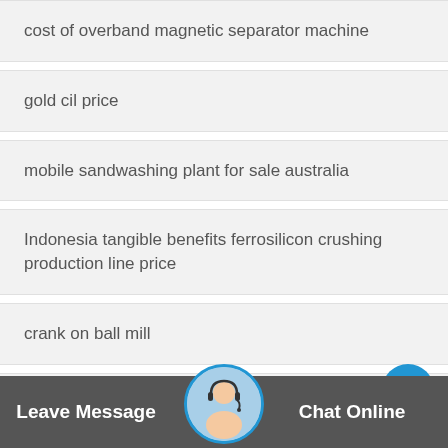cost of overband magnetic separator machine
gold cil price
mobile sandwashing plant for sale australia
Indonesia tangible benefits ferrosilicon crushing production line price
crank on ball mill
shaking table in html
dust collecting sanding m… abu dhabi
Leave Message
Chat Online